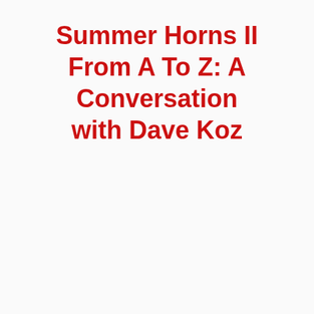Summer Horns II From A To Z: A Conversation with Dave Koz